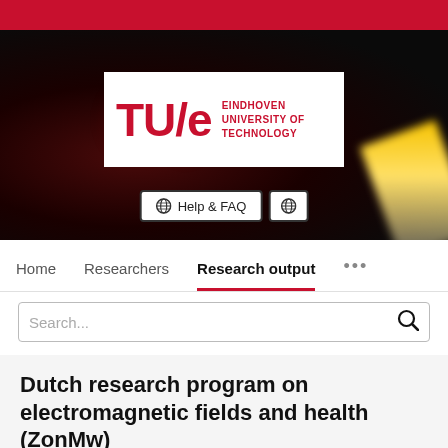[Figure (logo): TU/e Eindhoven University of Technology logo on dark hero banner background with red bokeh lights]
Help & FAQ
Home   Researchers   Research output   ...
Search...
Dutch research program on electromagnetic fields and health (ZonMw)